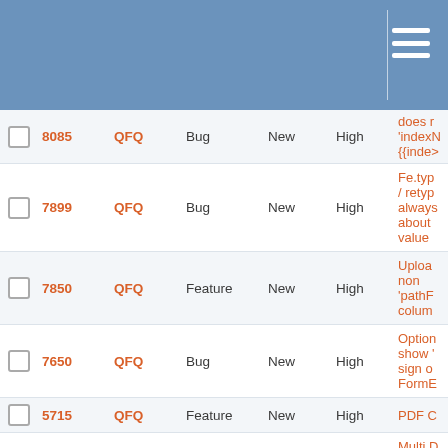|  | ID | Project | Type | Status | Priority | Title |
| --- | --- | --- | --- | --- | --- | --- |
|  | 8085 | QFQ | Bug | New | High | does r 'indexN {{inde> |
|  | 7899 | QFQ | Bug | New | High | Fe.typ / retyp always about value |
|  | 7850 | QFQ | Feature | New | High | Uploa non 'pathF colum |
|  | 7650 | QFQ | Bug | New | High | Option show ' sign o FormE |
|  | 5715 | QFQ | Feature | New | High | PDF C |
|  | 5459 | QFQ | Bug | New | High | Multi D system betwe and 'D |
|  |  |  |  |  |  | Downl |